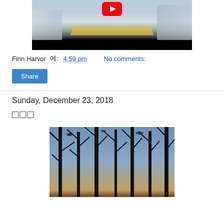[Figure (screenshot): YouTube video thumbnail showing a snow-covered aerial scene with a road, trees covered in snow, and a YouTube play button overlay. Bottom portion is black.]
Finn Harvor 에: 4:59 pm   No comments:
Share
Sunday, December 23, 2018
□□□
[Figure (photo): Photo of bare winter trees silhouetted against a blue sky with sunlight visible at the bottom right. Leafless branches fill the frame.]